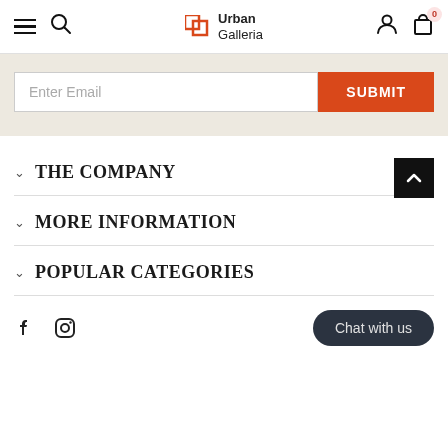Urban Galleria header with hamburger menu, search, logo, user account, and cart (0)
Enter Email
SUBMIT
THE COMPANY
MORE INFORMATION
POPULAR CATEGORIES
Chat with us
[Figure (illustration): Facebook and Instagram social media icons]